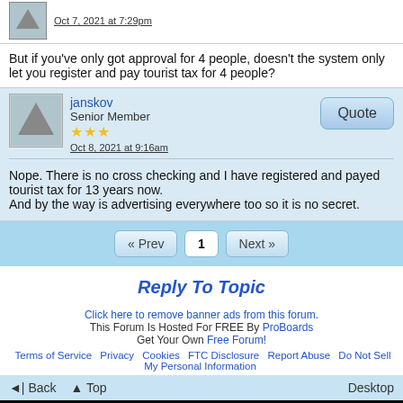Oct 7, 2021 at 7:29pm
But if you've only got approval for 4 people, doesn't the system only let you register and pay tourist tax for 4 people?
janskov
Senior Member
Oct 8, 2021 at 9:16am
Nope. There is no cross checking and I have registered and payed tourist tax for 13 years now.
And by the way is advertising everywhere too so it is no secret.
« Prev  1  Next »
Reply To Topic
Click here to remove banner ads from this forum.
This Forum Is Hosted For FREE By ProBoards
Get Your Own Free Forum!
Terms of Service  Privacy  Cookies  FTC Disclosure  Report Abuse  Do Not Sell My Personal Information
Back  Top  Desktop